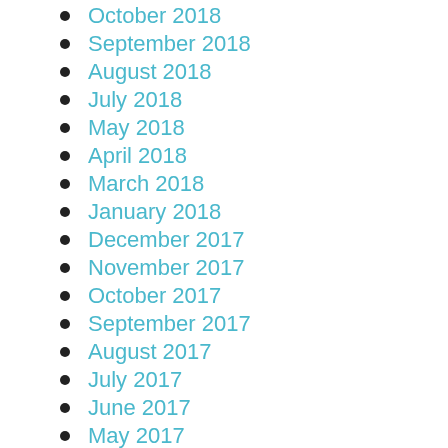October 2018
September 2018
August 2018
July 2018
May 2018
April 2018
March 2018
January 2018
December 2017
November 2017
October 2017
September 2017
August 2017
July 2017
June 2017
May 2017
April 2017
March 2017
February 2017